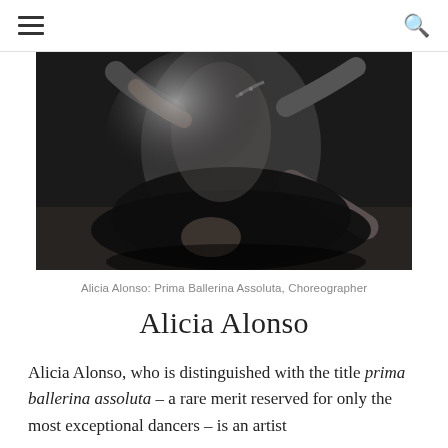[hamburger menu] [search icon]
[Figure (photo): Black and white photograph of a ballet dancer in a dark costume, crouching or mid-movement on a stage floor. The image is high-contrast monochrome showing arms, legs, and a tutu.]
Alicia Alonso: Prima Ballerina Assoluta, Choreographer
Alicia Alonso
Alicia Alonso, who is distinguished with the title prima ballerina assoluta – a rare merit reserved for only the most exceptional dancers – is an artist